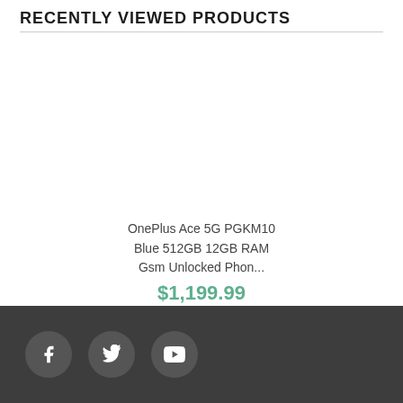RECENTLY VIEWED PRODUCTS
OnePlus Ace 5G PGKM10 Blue 512GB 12GB RAM Gsm Unlocked Phon...
$1,199.99
[Figure (illustration): Social media icons: Facebook, Twitter, YouTube in dark circular buttons on a dark grey footer bar]